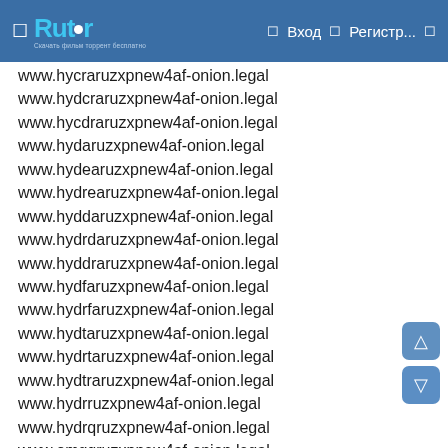Rutor — Вход — Регистр...
www.hycraruzxpnew4af-onion.legal
www.hydcraruzxpnew4af-onion.legal
www.hycdraruzxpnew4af-onion.legal
www.hydaruzxpnew4af-onion.legal
www.hydearuzxpnew4af-onion.legal
www.hydrearuzxpnew4af-onion.legal
www.hyddaruzxpnew4af-onion.legal
www.hydrdaruzxpnew4af-onion.legal
www.hyddraruzxpnew4af-onion.legal
www.hydfaruzxpnew4af-onion.legal
www.hydrfaruzxpnew4af-onion.legal
www.hydtaruzxpnew4af-onion.legal
www.hydrtaruzxpnew4af-onion.legal
www.hydtraruzxpnew4af-onion.legal
www.hydrruzxpnew4af-onion.legal
www.hydrqruzxpnew4af-onion.legal
www.omgqruzxpnew4af-onion.legal
www.hydrqaruzxpnew4af-onion.legal
www.hydrwruzxpnew4af-onion.legal